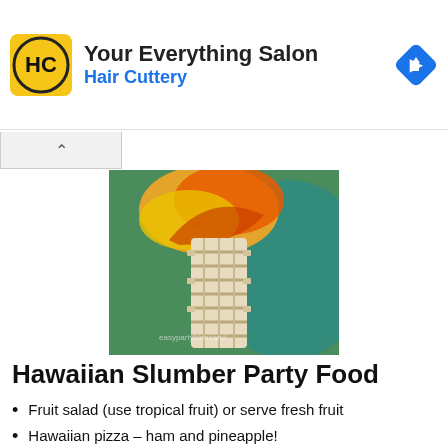[Figure (logo): Hair Cuttery advertisement banner with HC logo, text 'Your Everything Salon' and 'Hair Cuttery', and a blue navigation diamond icon]
[Figure (photo): A tiki torch made of woven bamboo/straw with colorful plastic flame decorations in orange, yellow, red on a green and teal background. Watermark reads 'easypartyideasand...']
Hawaiian Slumber Party Food
Fruit salad (use tropical fruit) or serve fresh fruit
Hawaiian pizza – ham and pineapple!